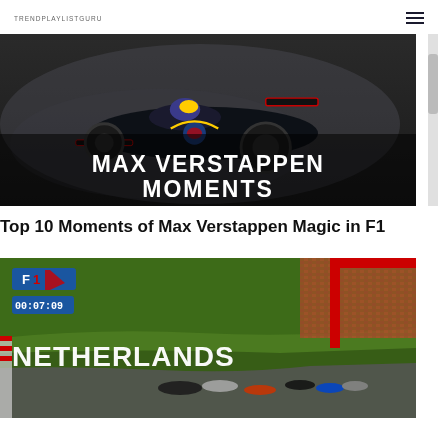TRENDPLAYLISTGURU
[Figure (screenshot): Thumbnail image of a Red Bull Formula 1 car racing on track with smoke/mist in background, overlaid with bold white text 'MAX VERSTAPPEN MOMENTS']
Top 10 Moments of Max Verstappen Magic in F1
[Figure (screenshot): Thumbnail image of a Netherlands Grand Prix race start, showing multiple F1 cars on track with crowds, an F1 logo badge, duration badge showing 00:07:09, bold white text 'NETHERLANDS', and a red chevron/bracket graphic on the right side]